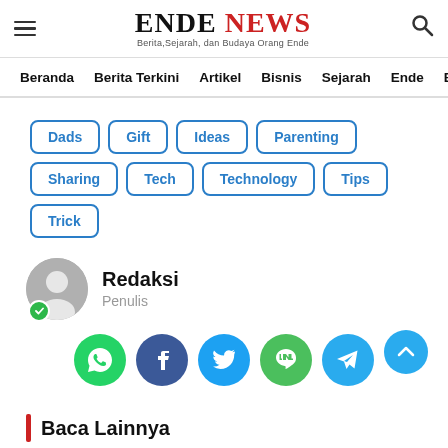ENDE NEWS - Berita,Sejarah, dan Budaya Orang Ende
Beranda
Berita Terkini
Artikel
Bisnis
Sejarah
Ende
Bol
Dads
Gift
Ideas
Parenting
Sharing
Tech
Technology
Tips
Trick
Redaksi
Penulis
Baca Lainnya